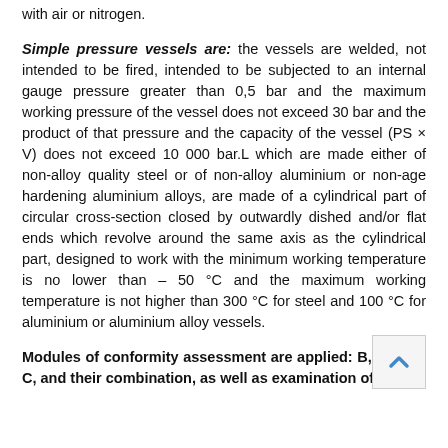with air or nitrogen.
Simple pressure vessels are: the vessels are welded, not intended to be fired, intended to be subjected to an internal gauge pressure greater than 0,5 bar and the maximum working pressure of the vessel does not exceed 30 bar and the product of that pressure and the capacity of the vessel (PS × V) does not exceed 10 000 bar.L which are made either of non-alloy quality steel or of non-alloy aluminium or non-age hardening aluminium alloys, are made of a cylindrical part of circular cross-section closed by outwardly dished and/or flat ends which revolve around the same axis as the cylindrical part, designed to work with the minimum working temperature is no lower than – 50 °C and the maximum working temperature is not higher than 300 °C for steel and 100 °C for aluminium or aluminium alloy vessels.
Modules of conformity assessment are applied: B, C1, C2, C, and their combination, as well as examination of